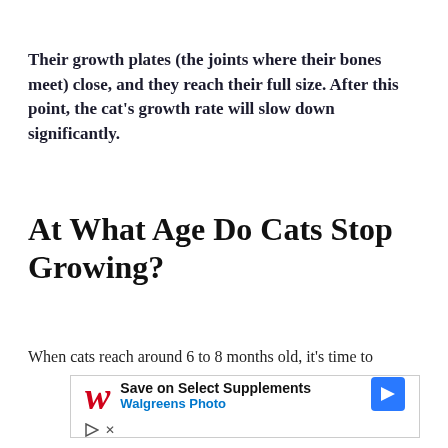Their growth plates (the joints where their bones meet) close, and they reach their full size. After this point, the cat's growth rate will slow down significantly.
At What Age Do Cats Stop Growing?
When cats reach around 6 to 8 months old, it's time to
[Figure (other): Walgreens advertisement: Save on Select Supplements - Walgreens Photo, with play and close buttons]